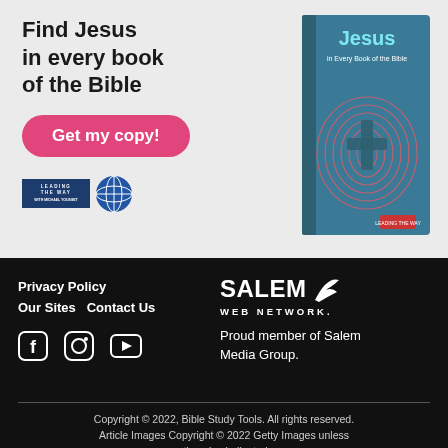[Figure (illustration): Advertisement banner: 'Find Jesus in every book of the Bible' with a pink 'Get my copy!' button, Leading the Way logos on the left, and a book cover image for 'Jesus in Every Book of the Bible' on the right.]
Privacy Policy
Our Sites   Contact Us
[Figure (logo): Salem Web Network logo with leaf icon and text 'SALEM WEB NETWORK.']
Proud member of Salem Media Group.
Copyright © 2022, Bible Study Tools. All rights reserved. Article Images Copyright © 2022 Getty Images unless otherwise indicated.